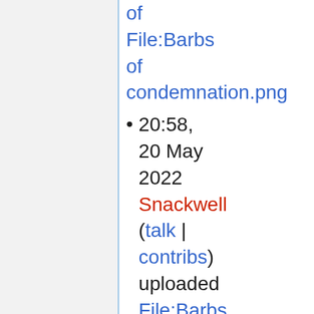of File:Barbs of condemnation.png
20:58, 20 May 2022 Snackwell (talk | contribs) uploaded File:Barbs of condemnation.png
07:47, 16 May 2022 Spudwalt (talk | contribs)